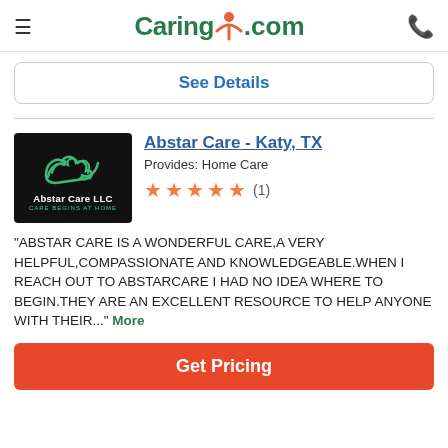Caring.com
See Details
Abstar Care - Katy, TX
Provides: Home Care
★★★★★ (1)
[Figure (logo): Abstar Care LLC logo — black background with green hands icon and white/teal text]
"ABSTAR CARE IS A WONDERFUL CARE,A VERY HELPFUL,COMPASSIONATE AND KNOWLEDGEABLE.WHEN I REACH OUT TO ABSTARCARE I HAD NO IDEA WHERE TO BEGIN.THEY ARE AN EXCELLENT RESOURCE TO HELP ANYONE WITH THEIR..." More
Get Pricing